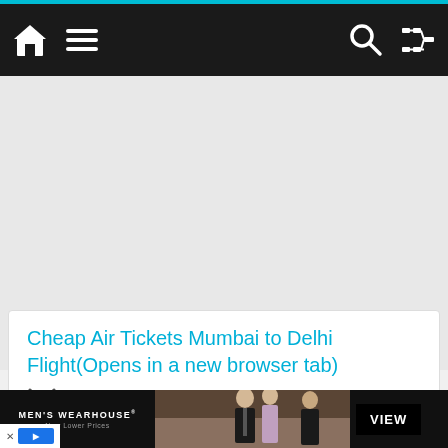Navigation bar with home, menu, search, and shuffle icons
[Figure (screenshot): Gray content area placeholder]
Cheap Air Tickets Mumbai to Delhi Flight(Opens in a new browser tab)
[Figure (photo): Men's Wearhouse advertisement with couple in formalwear. Text: MEN'S WEARHOUSE® New Lower Prices. VIEW button.]